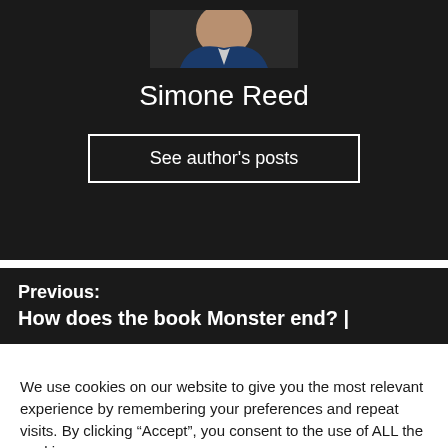[Figure (photo): Author portrait photo of Simone Reed, partially cropped at top, showing head and shoulders of a person in professional attire against dark background.]
Simone Reed
See author's posts
Previous:
How does the book Monster end? |
We use cookies on our website to give you the most relevant experience by remembering your preferences and repeat visits. By clicking “Accept”, you consent to the use of ALL the cookies.
Do not sell my personal information.
Cookie Settings
Accept